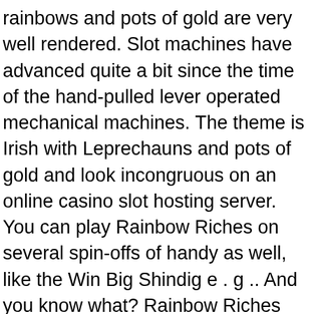rainbows and pots of gold are very well rendered. Slot machines have advanced quite a bit since the time of the hand-pulled lever operated mechanical machines. The theme is Irish with Leprechauns and pots of gold and look incongruous on an online casino slot hosting server. You can play Rainbow Riches on several spin-offs of handy as well, like the Win Big Shindig e . g .. And you know what? Rainbow Riches possesses an online version too! It feels and appearance exactly for instance real thing and there is not any difference. Is included in a there be any difference? Both online and offline are computer controlled machines that make use of the same software tool.
The spin message online goes through all the servers and then sends it back for the player's computer. this happens very quickly if world wide